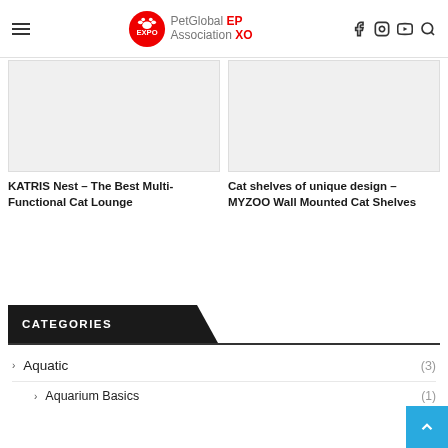PetGlobal Association EPXO
[Figure (photo): Empty light gray placeholder image for KATRIS Nest article]
KATRIS Nest – The Best Multi-Functional Cat Lounge
[Figure (photo): Empty light gray placeholder image for Cat shelves article]
Cat shelves of unique design – MYZOO Wall Mounted Cat Shelves
CATEGORIES
Aquatic (3)
Aquarium Basics (1)